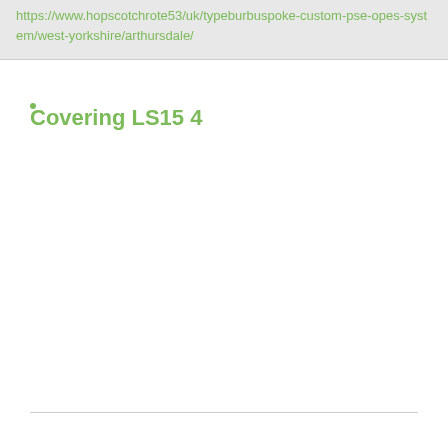https://www.hopscotchrote53/uk/typeburbuspoke-custom-pse-opes-system/west-yorkshire/arthursdale/
Covering LS15 4